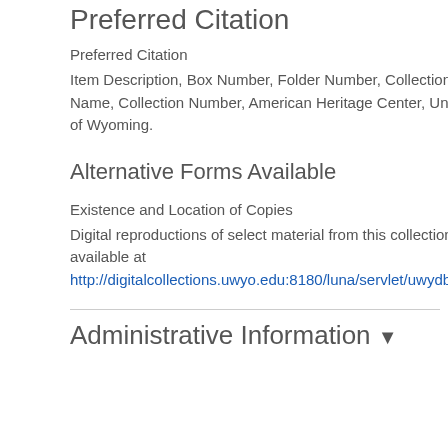Preferred Citation
Preferred Citation
Item Description, Box Number, Folder Number, Collection Name, Collection Number, American Heritage Center, University of Wyoming.
Alternative Forms Available
Existence and Location of Copies
Digital reproductions of select material from this collection are available at http://digitalcollections.uwyo.edu:8180/luna/servlet/uwydbur~...
Administrative Information ▼